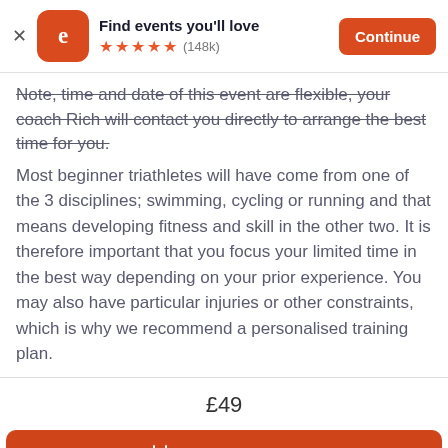[Figure (screenshot): Eventbrite app banner with logo, 'Find events you'll love' title, 5 orange stars and (148k) rating, and orange 'Continue' button]
Note, time and date of this event are flexible, your coach Rich will contact you directly to arrange the best time for you.
Most beginner triathletes will have come from one of the 3 disciplines; swimming, cycling or running and that means developing fitness and skill in the other two. It is therefore important that you focus your limited time in the best way depending on your prior experience. You may also have particular injuries or other constraints, which is why we recommend a personalised training plan.
£49
Select a date